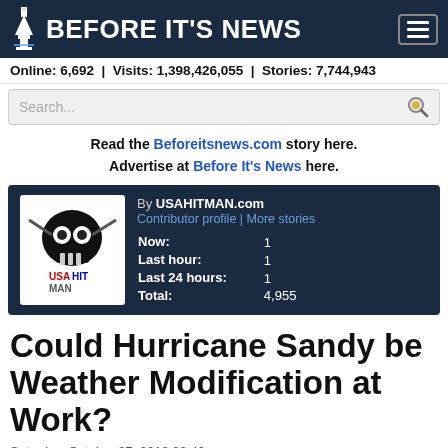BEFORE IT'S NEWS
Online: 6,692 | Visits: 1,398,426,055 | Stories: 7,744,943
Read the Beforeitsnews.com story here. Advertise at Before It's News here.
| Stat | Value |
| --- | --- |
| Now: | 1 |
| Last hour: | 1 |
| Last 24 hours: | 1 |
| Total: | 4,955 |
Could Hurricane Sandy be Weather Modification at Work?
Saturday, October 27, 2012 20:40